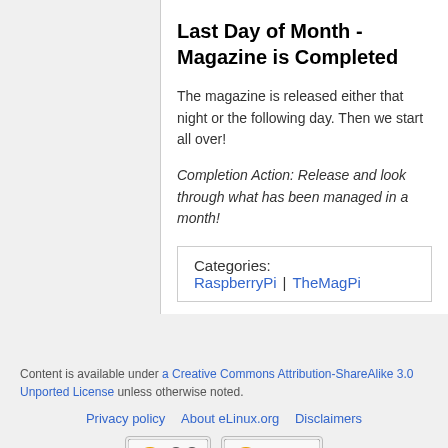Last Day of Month - Magazine is Completed
The magazine is released either that night or the following day. Then we start all over!
Completion Action: Release and look through what has been managed in a month!
Categories:  RaspberryPi | TheMagPi
Content is available under a Creative Commons Attribution-ShareAlike 3.0 Unported License unless otherwise noted.
Privacy policy   About eLinux.org   Disclaimers